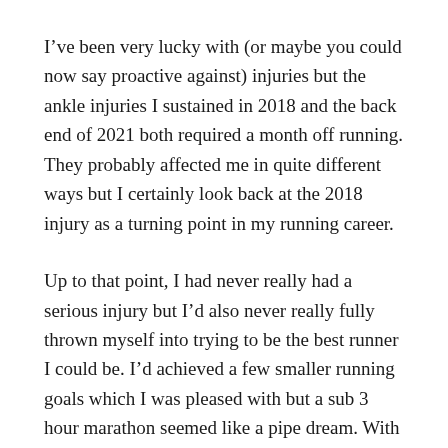I've been very lucky with (or maybe you could now say proactive against) injuries but the ankle injuries I sustained in 2018 and the back end of 2021 both required a month off running. They probably affected me in quite different ways but I certainly look back at the 2018 injury as a turning point in my running career.
Up to that point, I had never really had a serious injury but I'd also never really fully thrown myself into trying to be the best runner I could be. I'd achieved a few smaller running goals which I was pleased with but a sub 3 hour marathon seemed like a pipe dream. With a best of 3:25, I'd need to run a whole minute faster every mile.